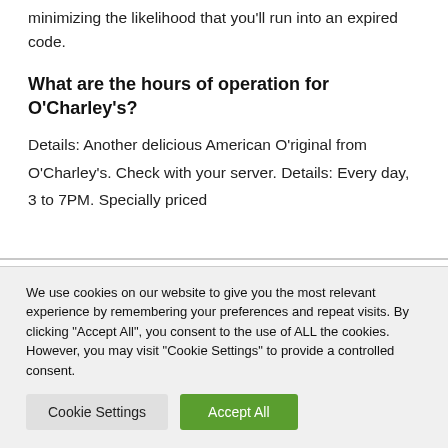minimizing the likelihood that you'll run into an expired code.
What are the hours of operation for O'Charley's?
Details: Another delicious American O'riginal from O'Charley's. Check with your server. Details: Every day, 3 to 7PM. Specially priced
We use cookies on our website to give you the most relevant experience by remembering your preferences and repeat visits. By clicking "Accept All", you consent to the use of ALL the cookies. However, you may visit "Cookie Settings" to provide a controlled consent.